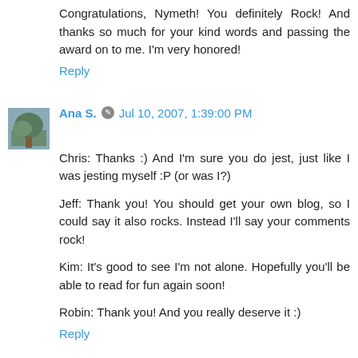Congratulations, Nymeth! You definitely Rock! And thanks so much for your kind words and passing the award on to me. I'm very honored!
Reply
Ana S. Jul 10, 2007, 1:39:00 PM
Chris: Thanks :) And I'm sure you do jest, just like I was jesting myself :P (or was I?)
Jeff: Thank you! You should get your own blog, so I could say it also rocks. Instead I'll say your comments rock!
Kim: It's good to see I'm not alone. Hopefully you'll be able to read for fun again soon!
Robin: Thank you! And you really deserve it :)
Reply
Anonymous Jul 13, 2007, 11:29:00 AM